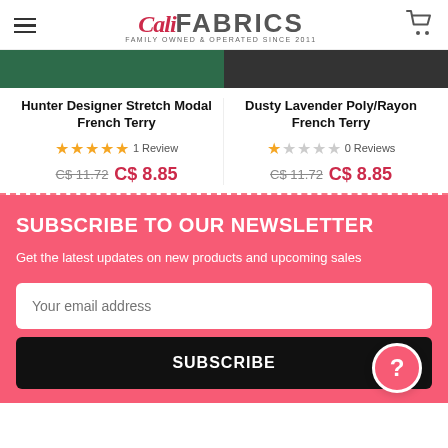Cali Fabrics — Family Owned & Operated Since 2011
Hunter Designer Stretch Modal French Terry
★★★★★ 1 Review
C$ 11.72 C$ 8.85
Dusty Lavender Poly/Rayon French Terry
★☆☆☆☆ 0 Reviews
C$ 11.72 C$ 8.85
SUBSCRIBE TO OUR NEWSLETTER
Get the latest updates on new products and upcoming sales
Your email address
SUBSCRIBE